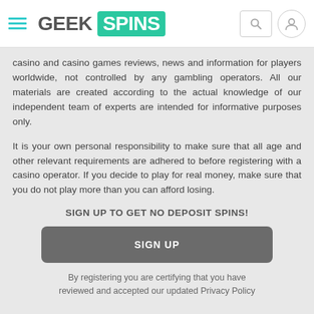GEEK SPINS
casino and casino games reviews, news and information for players worldwide, not controlled by any gambling operators. All our materials are created according to the actual knowledge of our independent team of experts are intended for informative purposes only.
It is your own personal responsibility to make sure that all age and other relevant requirements are adhered to before registering with a casino operator. If you decide to play for real money, make sure that you do not play more than you can afford losing.
SIGN UP TO GET NO DEPOSIT SPINS!
SIGN UP
By registering you are certifying that you have reviewed and accepted our updated Privacy Policy